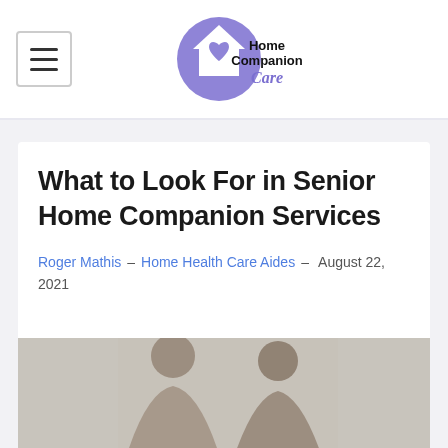[Figure (logo): Home Companion Care logo with purple house/heart icon and company name]
What to Look For in Senior Home Companion Services
Roger Mathis – Home Health Care Aides – August 22, 2021
[Figure (photo): Two women looking downward together, appears to be a caregiver and senior client]